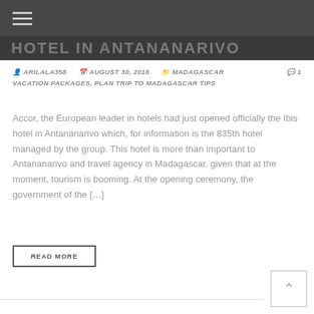HOTEL IN ANTANANARIVO
ARILALA358   AUGUST 30, 2018   MADAGASCAR VACATION PACKAGES, PLAN TRIP TO MADAGASCAR TIPS   1
Accor, the European leader in hotels had just opened officially the Ibis hotel in Antananarivo which, for information is the 835th hotel managed by the group. This hotel is more than important to Antananarivo and travel agency in Madagascar, given that at the moment, tourism is booming. At the opening ceremony, the government of the [...]
READ MORE